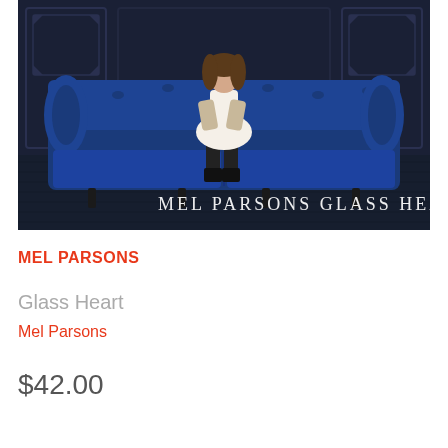[Figure (photo): Album cover for Mel Parsons - Glass Heart. Shows a woman in a white dress and dark boots sitting on a large blue velvet tufted Chesterfield sofa. Dark wood-panelled walls in the background. Dark hardwood floor in the foreground. Text overlay reads 'MEL PARSONS  GLASS HEART' in white serif letters at the bottom center of the image.]
MEL PARSONS
Glass Heart
Mel Parsons
$42.00